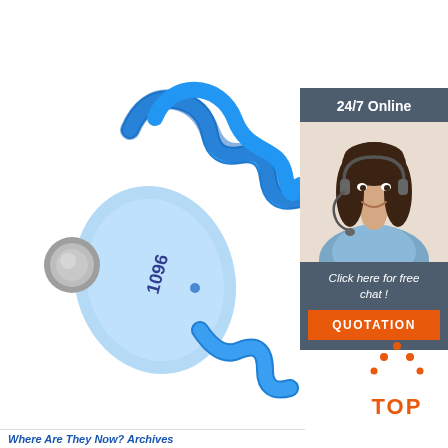[Figure (photo): Blue plastic RFID wristband with coiled blue cable and numbered tag showing '1096', set on white background]
[Figure (photo): 24/7 online customer service sidebar with photo of smiling female operator wearing headset, dark gray background, 'Click here for free chat!' text, and orange QUOTATION button]
[Figure (illustration): Orange dotted arrow pointing upward with 'TOP' text below in orange, indicating a back-to-top navigation element]
Where Are They Now? Archives